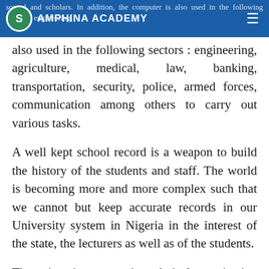AMPHINA ACADEMY
also used in the following sectors : engineering, agriculture, medical, law, banking, transportation, security, police, armed forces, communication among others to carry out various tasks.
A well kept school record is a weapon to build the history of the students and staff. The world is becoming more and more complex such that we cannot but keep accurate records in our University system in Nigeria in the interest of the state, the lecturers as well as of the students.
The university as a socio-technical organization comprises of a technical task, human and the